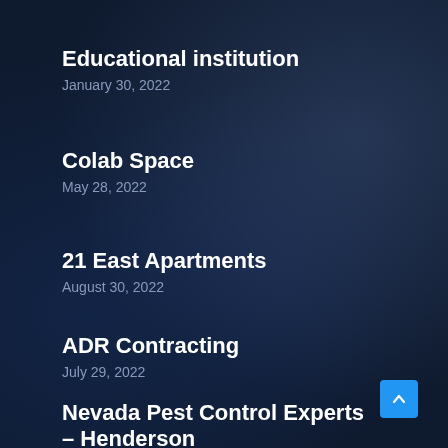Educational institution
January 30, 2022
Colab Space
May 28, 2022
21 East Apartments
August 30, 2022
ADR Contracting
July 29, 2022
Nevada Pest Control Experts – Henderson
December 24, 2021